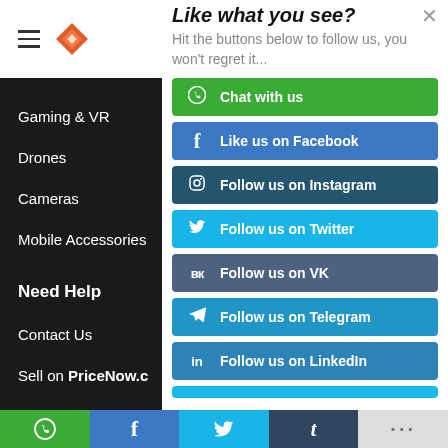[Figure (screenshot): Left navigation sidebar with hamburger menu icon and diamond logo at top, then dark background with nav items: Gaming & VR, Drones, Cameras, Mobile Accessories, Need Help (bold), Contact Us, Sell on PricoNow.c (truncated)]
Like what you see?
Hit the buttons below to follow us, you won't regret it...
Chat with us
Like us on Facebook
Follow us on Instagram
Follow us on Twitter
Follow us on VK
Follow us on Telegram
Follow us on LinkedIn
WhatsApp | Facebook | Twitter | Tumblr | ...